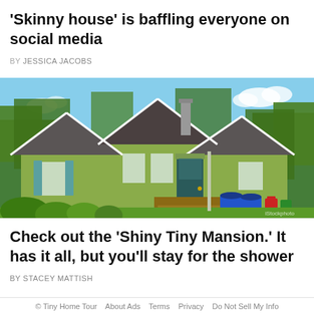'Skinny house' is baffling everyone on social media
BY JESSICA JACOBS
[Figure (photo): Exterior photo of a small, narrow green wood-sided house with a dark gray roof, surrounded by lush trees and greenery, with a wooden deck, blue trash cans in front, on a sunny summer day.]
Check out the 'Shiny Tiny Mansion.' It has it all, but you'll stay for the shower
BY STACEY MATTISH
© Tiny Home Tour   About Ads   Terms   Privacy   Do Not Sell My Info